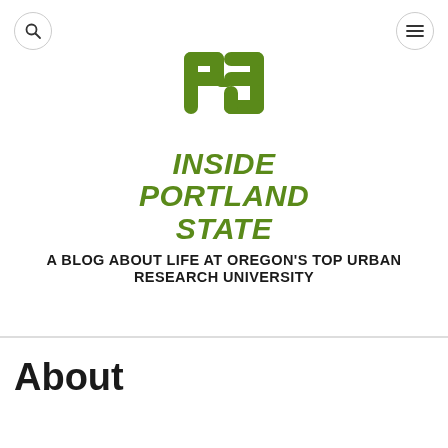[Figure (logo): Portland State University interlocking P-S green logo mark]
INSIDE PORTLAND STATE
A BLOG ABOUT LIFE AT OREGON'S TOP URBAN RESEARCH UNIVERSITY
About